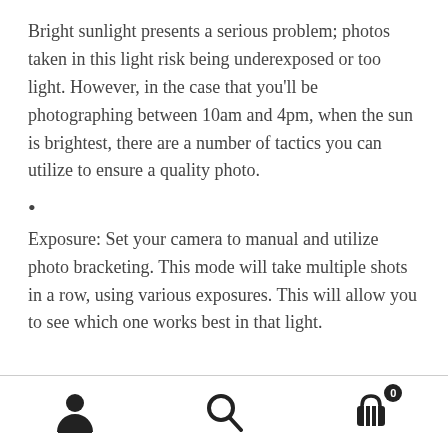Bright sunlight presents a serious problem; photos taken in this light risk being underexposed or too light. However, in the case that you'll be photographing between 10am and 4pm, when the sun is brightest, there are a number of tactics you can utilize to ensure a quality photo.
• Exposure: Set your camera to manual and utilize photo bracketing. This mode will take multiple shots in a row, using various exposures. This will allow you to see which one works best in that light.
[person icon] [search icon] [cart icon with badge 0]